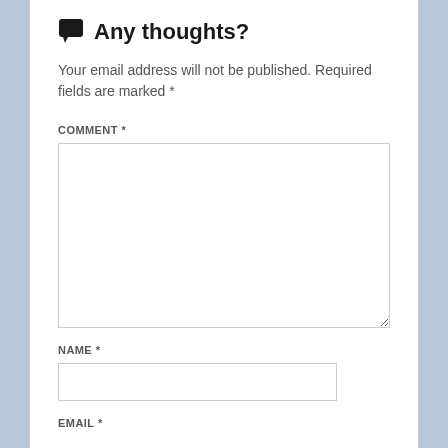💬 Any thoughts?
Your email address will not be published. Required fields are marked *
COMMENT *
NAME *
EMAIL *